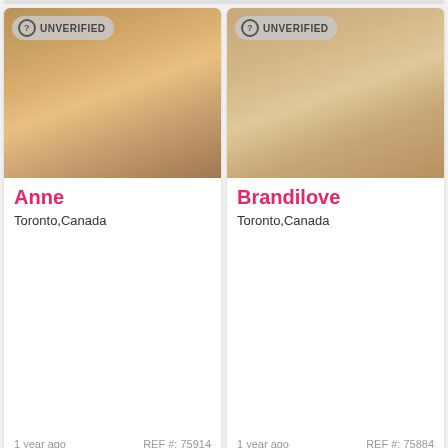[Figure (photo): Profile card photo for Anne, unverified badge, person in white clothing, back view]
Anne
Toronto,Canada
1 year ago    REF #: 75914
[Figure (photo): Profile card photo for Brandilove, unverified badge, person in light pink top]
Brandilove
Toronto,Canada
1 year ago    REF #: 75884
[Figure (photo): Profile card photo, bottom left, unverified badge, partial view]
[Figure (photo): Profile card photo, bottom right, unverified badge, partial view]